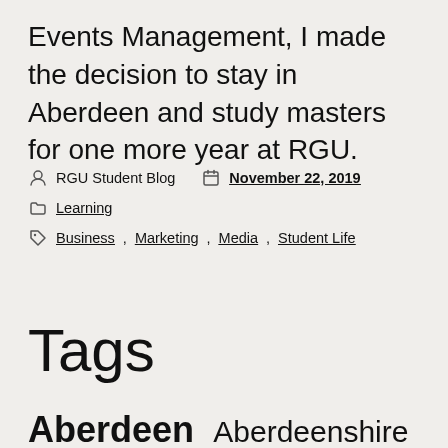Events Management, I made the decision to stay in Aberdeen and study masters for one more year at RGU.
Author: RGU Student Blog  Date: November 22, 2019  Category: Learning  Tags: Business, Marketing, Media, Student Life
Tags
Aberdeen  Aberdeenshire  Accounting